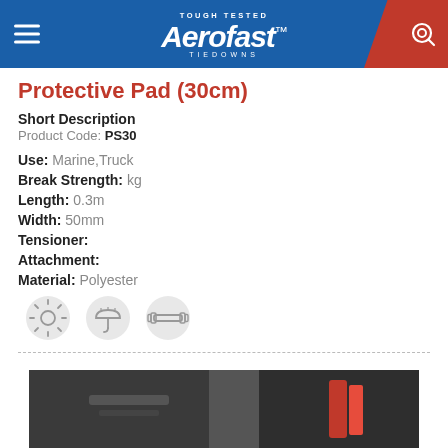Aerofast Tiedowns — Tough Tested
Protective Pad (30cm)
Short Description
Product Code: PS30
Use: Marine,Truck
Break Strength: kg
Length: 0.3m
Width: 50mm
Tensioner:
Attachment:
Material: Polyester
[Figure (illustration): Three circular icons: sun/UV icon, umbrella/weather icon, and a barbell/strength icon]
[Figure (photo): Product photo showing tiedown strap in use on a vehicle, dark background with red strap visible]